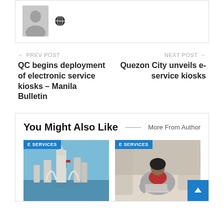[Figure (other): User avatar placeholder (grey silhouette) with a globe icon next to it inside a bordered card]
← PREV POST
QC begins deployment of electronic service kiosks – Manila Bulletin
NEXT POST →
Quezon City unveils e-service kiosks
You Might Also Like
More From Author
[Figure (photo): Photo of city skyline with distinctive architectural structures near water, blue sky. E SERVICES badge top-left.]
[Figure (photo): Photo of a woman with curly hair sitting with a laptop outdoors. E SERVICES badge top-left.]